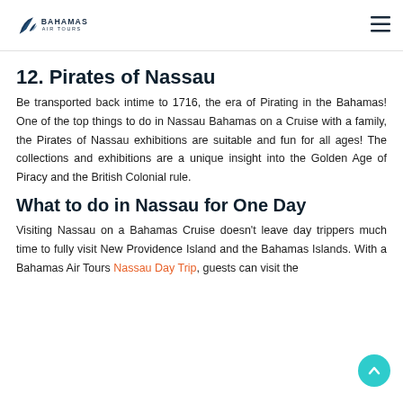Bahamas Air Tours
12. Pirates of Nassau
Be transported back intime to 1716, the era of Pirating in the Bahamas! One of the top things to do in Nassau Bahamas on a Cruise with a family, the Pirates of Nassau exhibitions are suitable and fun for all ages! The collections and exhibitions are a unique insight into the Golden Age of Piracy and the British Colonial rule.
What to do in Nassau for One Day
Visiting Nassau on a Bahamas Cruise doesn't leave day trippers much time to fully visit New Providence Island and the Bahamas Islands. With a Bahamas Air Tours Nassau Day Trip, guests can visit the